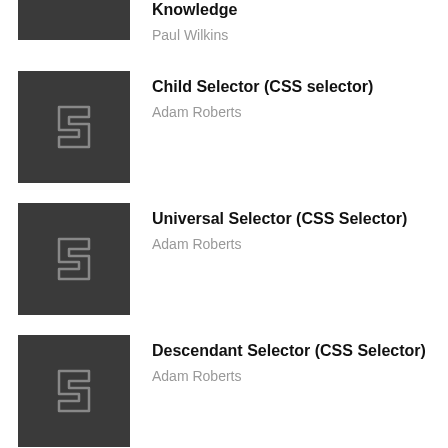Knowledge
Paul Wilkins
Child Selector (CSS selector)
Adam Roberts
Universal Selector (CSS Selector)
Adam Roberts
Descendant Selector (CSS Selector)
Adam Roberts